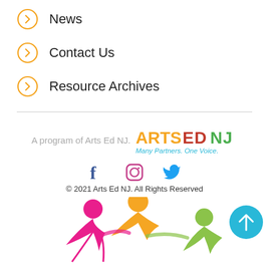News
Contact Us
Resource Archives
A program of Arts Ed NJ.
[Figure (logo): Arts Ed NJ logo with text 'ARTS ED NJ Many Partners. One Voice.']
[Figure (illustration): Social media icons: Facebook, Instagram, Twitter]
© 2021 Arts Ed NJ. All Rights Reserved
[Figure (illustration): Three colorful figures (pink, orange, green) holding hands, with a blue scroll-to-top button on the right]